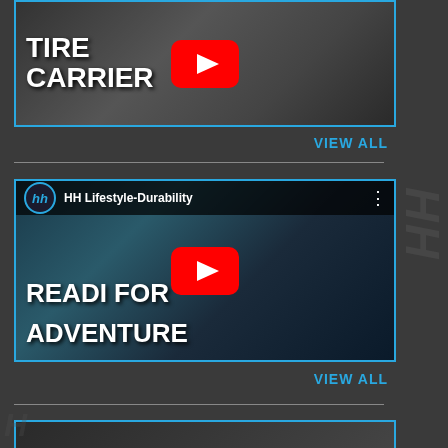[Figure (screenshot): YouTube video thumbnail showing tire carrier video with play button overlay]
VIEW ALL
[Figure (screenshot): YouTube video thumbnail for HH Lifestyle-Durability showing Jeep with text READY FOR ADVENTURE and play button overlay]
VIEW ALL
[Figure (screenshot): Partial third YouTube video thumbnail at bottom of page]